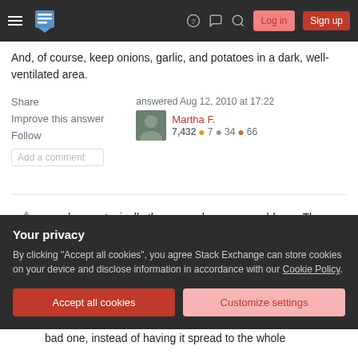Stack Exchange navigation bar with Log in and Sign up buttons
And, of course, keep onions, garlic, and potatoes in a dark, well-ventilated area.
Share  Improve this answer  Follow  Add a comment
answered Aug 12, 2010 at 17:22
Martha F.
7,432 ●7 ●34 ●66
apples are typically the ones who cause problems. They cause bananas skins to ripen while the inside fruit does not actually get ripe. The best method for
Your privacy
By clicking "Accept all cookies", you agree Stack Exchange can store cookies on your device and disclose information in accordance with our Cookie Policy.
Accept all cookies  Customize settings
bad one, instead of having it spread to the whole